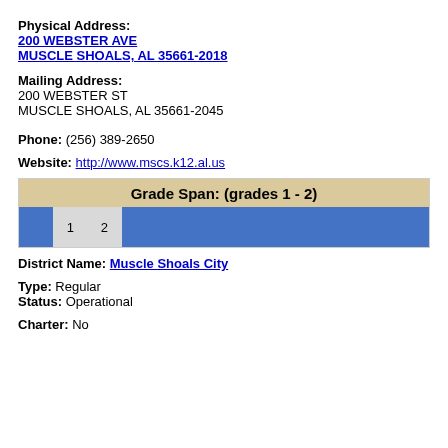Physical Address: 200 WEBSTER AVE MUSCLE SHOALS, AL 35661-2018
Mailing Address: 200 WEBSTER ST MUSCLE SHOALS, AL 35661-2045
Phone: (256) 389-2650
Website: http://www.mscs.k12.al.us
[Figure (infographic): Grade Span bar showing grades 1 and 2 highlighted in light gray, all other grade cells in blue. Header reads: Grade Span: (grades 1 - 2)]
District Name: Muscle Shoals City
Type: Regular
Status: Operational
Charter: No